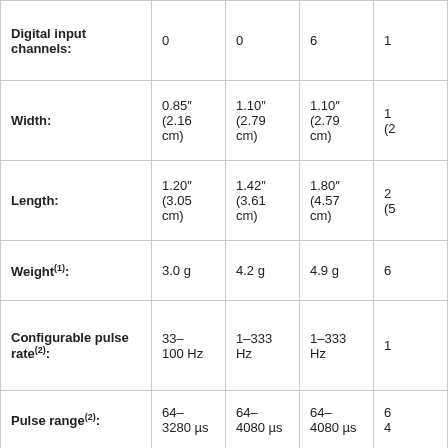|  | Col1 | Col2 | Col3 | Col4(partial) |
| --- | --- | --- | --- | --- |
| Digital input channels: | 0 | 0 | 6 | 1… |
| Width: | 0.85″
(2.16 cm) | 1.10″
(2.79 cm) | 1.10″
(2.79 cm) | 1…
(2… |
| Length: | 1.20″
(3.05 cm) | 1.42″
(3.61 cm) | 1.80″
(4.57 cm) | 2…
(5… |
| Weight(1): | 3.0 g | 4.2 g | 4.9 g | 6… |
| Configurable pulse rate(2): | 33–100 Hz | 1–333 Hz | 1–333 Hz | 1… |
| Pulse range(2): | 64–3280 µs | 64–4080 µs | 64–4080 µs | 6…
4… |